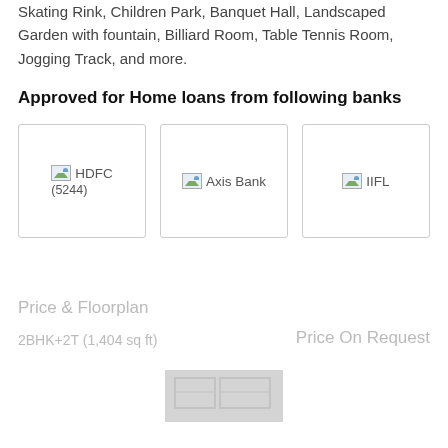Skating Rink, Children Park, Banquet Hall, Landscaped Garden with fountain, Billiard Room, Table Tennis Room, Jogging Track, and more.
Approved for Home loans from following banks
[Figure (other): Three bank logo placeholders in bordered boxes: HDFC (5244), Axis Bank, IIFL]
Price & Floorplan
2BHK+2T (1,404 sq ft)
Price On Request
[Figure (photo): Blurred/greyed floorplan image placeholder]